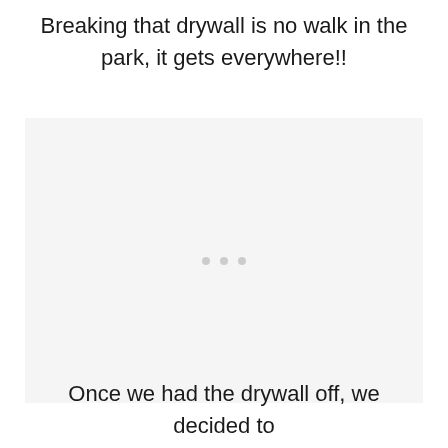Breaking that drywall is no walk in the park, it gets everywhere!!
[Figure (photo): A light gray placeholder image area with three small gray dots in the center, representing an image of drywall breaking.]
Once we had the drywall off, we decided to